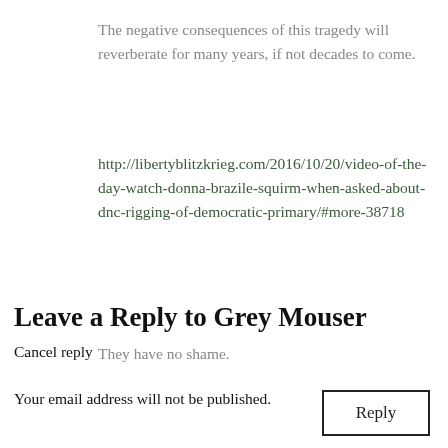The negative consequences of this tragedy will reverberate for many years, if not decades to come.
http://libertyblitzkrieg.com/2016/10/20/video-of-the-day-watch-donna-brazile-squirm-when-asked-about-dnc-rigging-of-democratic-primary/#more-38718
They have no shame.
Reply
Leave a Reply to Grey Mouser
Cancel reply
Your email address will not be published.